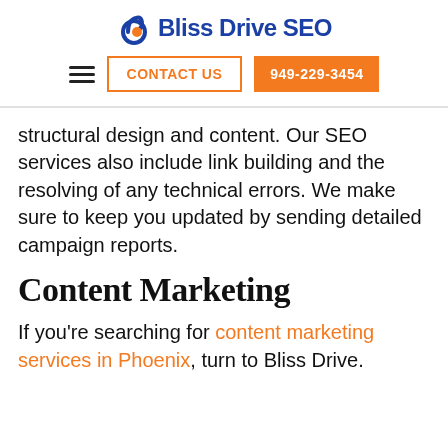Bliss Drive SEO
CONTACT US | 949-229-3454
structural design and content. Our SEO services also include link building and the resolving of any technical errors. We make sure to keep you updated by sending detailed campaign reports.
Content Marketing
If you’re searching for content marketing services in Phoenix, turn to Bliss Drive.